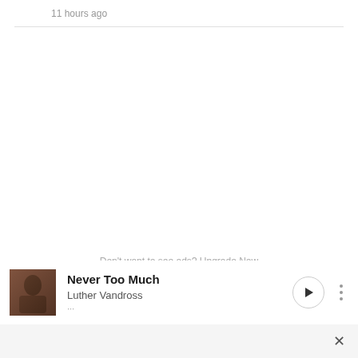11 hours ago
Don't want to see ads? Upgrade Now
[Figure (photo): Album art thumbnail for Never Too Much by Luther Vandross - dark brown toned portrait photo]
Never Too Much
Luther Vandross